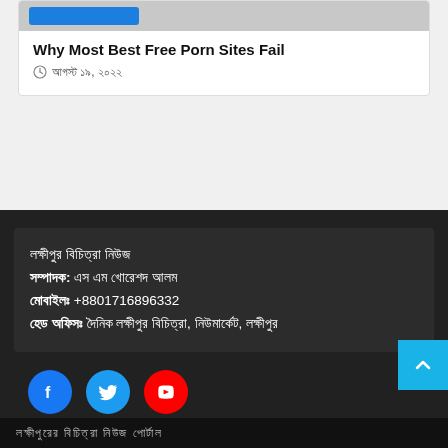Why Most Best Free Porn Sites Fail
আগস্ট ১৯, ২০২২
লক্ষীপুর বিচিত্রা নিউজ
সম্পাদক: এস এম খোরেশদ আলম
মোবাইলঃ +8801716896332
হেড অফিসঃ দৈনিক লক্ষীপুর বিচিত্রা, নিউমার্কেট, লক্ষীপুর
[Figure (illustration): Social media icons: Facebook (blue circle), Twitter (blue circle), YouTube (red circle)]
লক্ষীপুরের বিচিত্রা নিউজ পোর্টাল